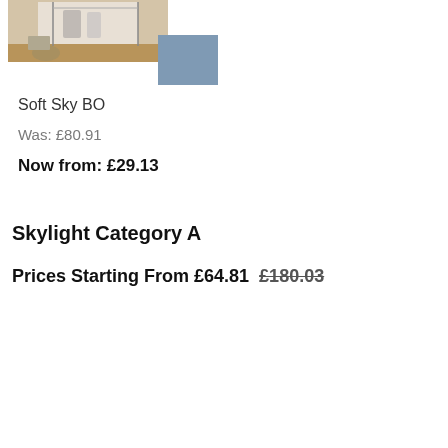[Figure (photo): Room photo showing a clothes rack/wardrobe area with wooden floor, and a dusty blue color swatch overlapping the bottom-right corner of the photo]
Soft Sky BO
Was: £80.91
Now from: £29.13
Skylight Category A
Prices Starting From £64.81  £180.03